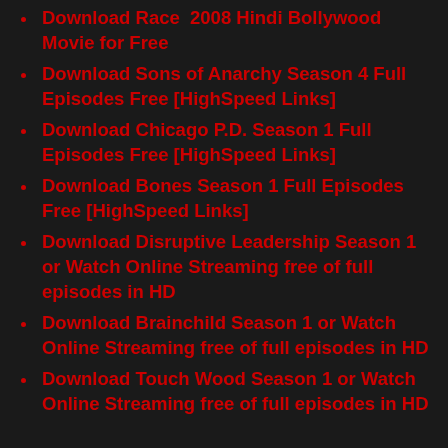Download Race  2008 Hindi Bollywood Movie for Free
Download Sons of Anarchy Season 4 Full Episodes Free [HighSpeed Links]
Download Chicago P.D. Season 1 Full Episodes Free [HighSpeed Links]
Download Bones Season 1 Full Episodes Free [HighSpeed Links]
Download Disruptive Leadership Season 1 or Watch Online Streaming free of full episodes in HD
Download Brainchild Season 1 or Watch Online Streaming free of full episodes in HD
Download Touch Wood Season 1 or Watch Online Streaming free of full episodes in HD